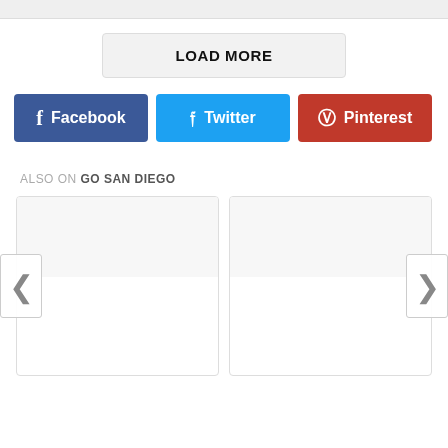[Figure (screenshot): Top gray bar, partial content above fold]
LOAD MORE
[Figure (infographic): Social share buttons: Facebook (blue), Twitter (cyan), Pinterest (red) with icons]
ALSO ON GO SAN DIEGO
[Figure (screenshot): Two article card placeholders with left and right navigation arrows, content area below fold]